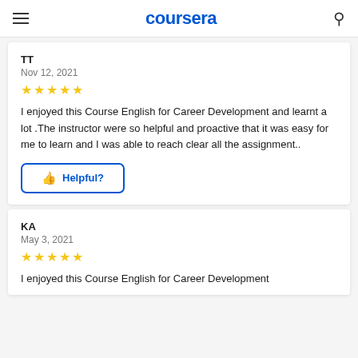coursera
TT
Nov 12, 2021
[Figure (other): 5 gold stars rating]
I enjoyed this Course English for Career Development and learnt a lot .The instructor were so helpful and proactive that it was easy for me to learn and I was able to reach clear all the assignment..
Helpful?
KA
May 3, 2021
[Figure (other): 5 gold stars rating]
I enjoyed this Course English for Career Development